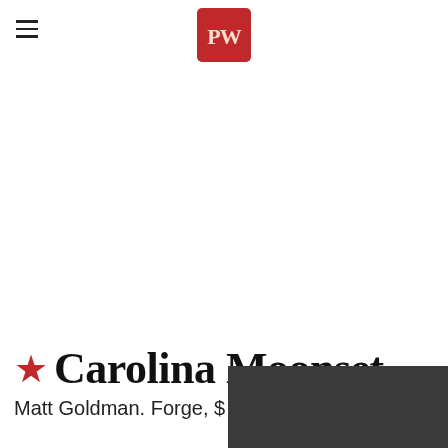PW (Publishers Weekly logo)
★Carolina Moonset
Matt Goldman. Forge, $...